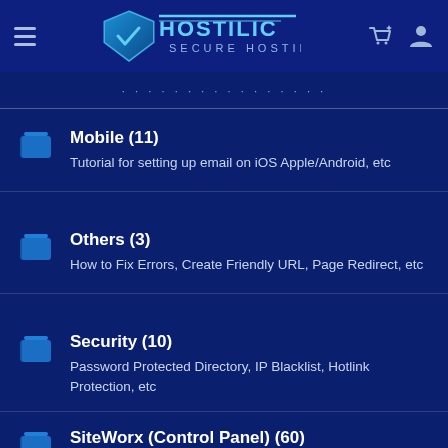Hostilic Secure Hosting
Mobile (11) — Tutorial for setting up email on iOS Apple/Android, etc
Others (3) — How to Fix Errors, Create Friendly URL, Page Redirect, etc
Security (10) — Password Protected Directory, IP Blacklist, Hotlink Protection, etc
SiteWorx (Control Panel) (60) — Tutorials on SiteWorx Control Panel, SiteWorx